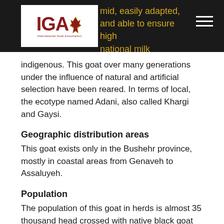mid, easily adapted, and able to ensure high... national milk production is approximately
indigenous. This goat over many generations under the influence of natural and artificial selection have been reared. In terms of local, the ecotype named Adani, also called Khargi and Gaysi.
Geographic distribution areas
This goat exists only in the Bushehr province, mostly in coastal areas from Genaveh to Assaluyeh.
Population
The population of this goat in herds is almost 35 thousand head crossed with native black goat and Pakistani in most townships. At present, in the breeding station for Adani goats, there are 340 Adani goats and 90 Adani crossed with Alpine and Sannen goats.